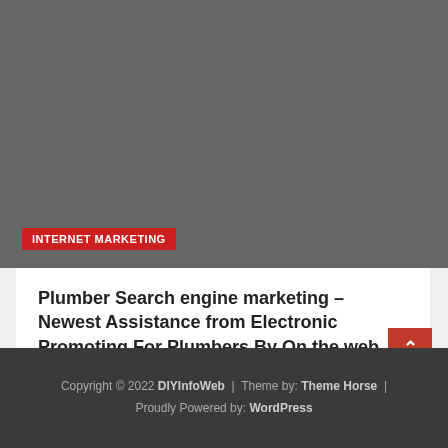[Figure (photo): Gray placeholder image block for a blog post about plumber search engine marketing]
INTERNET MARKETING
Plumber Search engine marketing – Newest Assistance from Electronic Promoting For Plumbers By On the web Pros
September 1, 2022 / Amanda Uli
Copyright © 2022 DIYInfoWeb | Theme by: Theme Horse | Proudly Powered by: WordPress